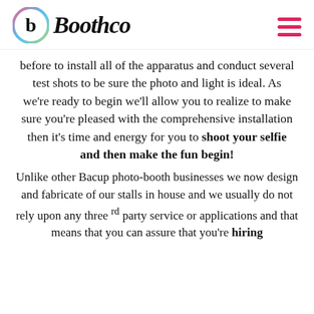Boothco
before to install all of the apparatus and conduct several test shots to be sure the photo and light is ideal. As we're ready to begin we'll allow you to realize to make sure you're pleased with the comprehensive installation then it's time and energy for you to shoot your selfie and then make the fun begin!
Unlike other Bacup photo-booth businesses we now design and fabricate of our stalls in house and we usually do not rely upon any three rd party service or applications and that means that you can assure that you're hiring